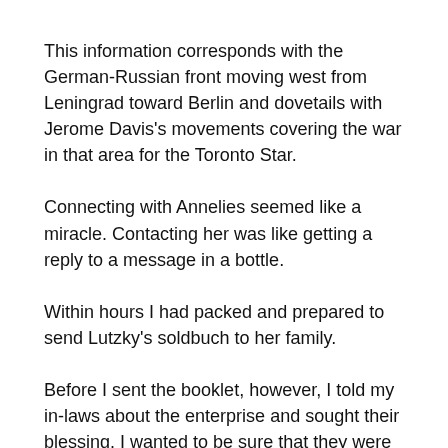This information corresponds with the German-Russian front moving west from Leningrad toward Berlin and dovetails with Jerome Davis's movements covering the war in that area for the Toronto Star.
Connecting with Annelies seemed like a miracle. Contacting her was like getting a reply to a message in a bottle.
Within hours I had packed and prepared to send Lutzky's soldbuch to her family.
Before I sent the booklet, however, I told my in-laws about the enterprise and sought their blessing. I wanted to be sure that they were comfortable with the project because the soldbuchs were originally in their possession and they had lived through the war. More